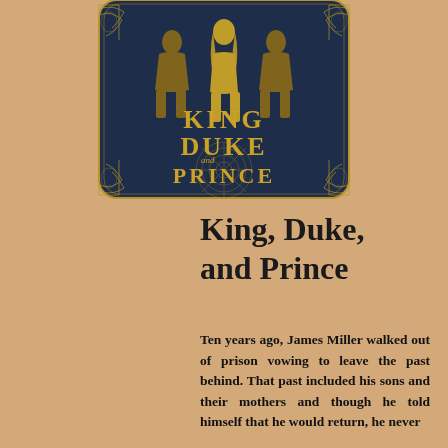[Figure (illustration): Book cover for 'King, Duke, and Prince' featuring three silhouetted figures against a dark navy blue background with ornate gold decorative patterns. The title text 'King, Duke, and Prince' is displayed in large gold letters.]
King, Duke, and Prince
Ten years ago, James Miller walked out of prison vowing to leave the past behind. That past included his sons and their mothers and though he told himself that he would return, he never